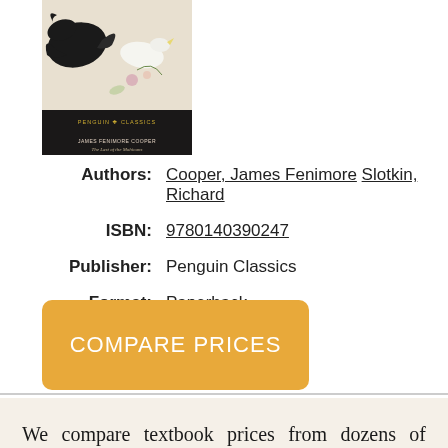[Figure (photo): Book cover of 'The Last of the Mohicans' by James Fenimore Cooper, Penguin Classics edition. Shows a dark bird and floral illustration on the cover.]
Authors: Cooper, James Fenimore Slotkin, Richard
ISBN: 9780140390247
Publisher: Penguin Classics
Format: Paperback
COMPARE PRICES
We compare textbook prices from dozens of vendors to find the cheapest textbook prices.